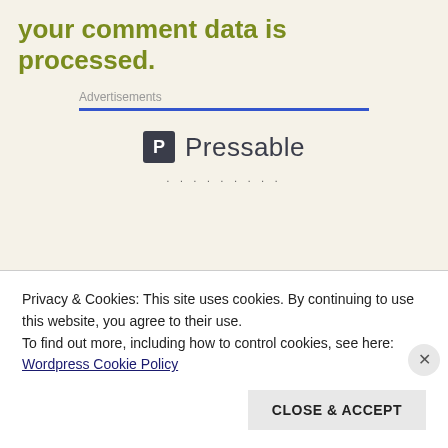your comment data is processed.
Advertisements
[Figure (logo): Pressable logo with dark square icon and text 'Pressable']
. . . . . . . . .
The Platform
Privacy & Cookies: This site uses cookies. By continuing to use this website, you agree to their use.
To find out more, including how to control cookies, see here:
Wordpress Cookie Policy
CLOSE & ACCEPT